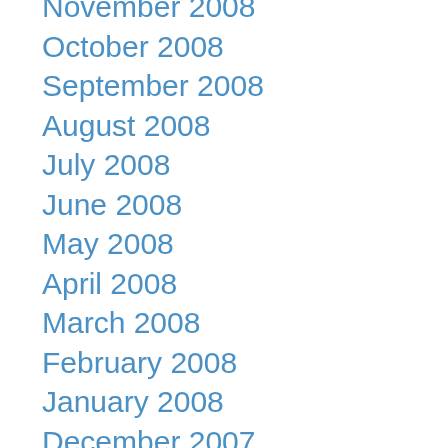November 2008
October 2008
September 2008
August 2008
July 2008
June 2008
May 2008
April 2008
March 2008
February 2008
January 2008
December 2007
October 2007
September 2007
August 2007